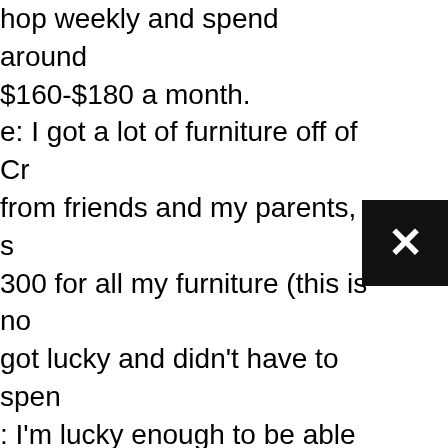hop weekly and spend around $160-$180 a month. e: I got a lot of furniture off of Cr from friends and my parents, s 300 for all my furniture (this is no got lucky and didn't have to spen : I'm lucky enough to be able to at my parent's (the perks of livin ne), but laundromats in my area
[Figure (other): Black square close button with white X symbol]